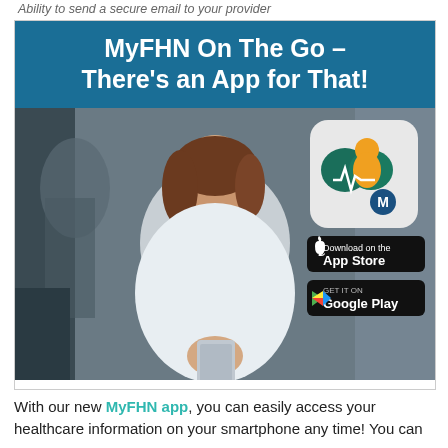Ability to send a secure email to your provider
[Figure (infographic): MyFHN On The Go – There's an App for That! Advertisement showing a woman using a smartphone, with the MyFHN app icon, App Store badge, and Google Play badge.]
With our new MyFHN app, you can easily access your healthcare information on your smartphone any time! You can